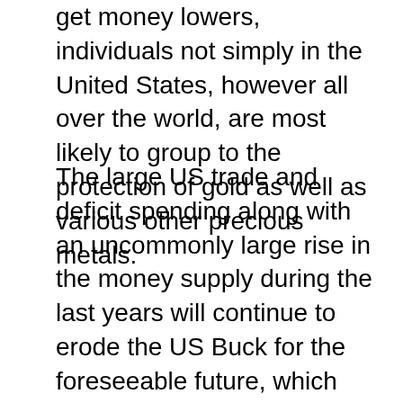get money lowers, individuals not simply in the United States, however all over the world, are most likely to group to the protection of gold as well as various other precious metals.
The large US trade and deficit spending along with an uncommonly large rise in the money supply during the last years will continue to erode the US Buck for the foreseeable future, which will result in raising need, as well as hence rates, for silver and gold. It is extremely most likely that the cost of gold will certainly never once more be as low as it is today. Unlike paper currency and also various other assets, gold has a history of holding its value, and even climbing, throughout economic crises.